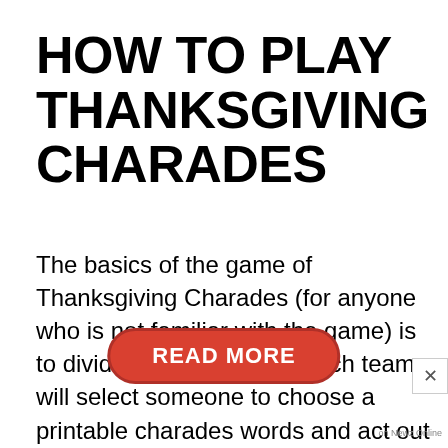HOW TO PLAY THANKSGIVING CHARADES
The basics of the game of Thanksgiving Charades (for anyone who is not familiar with the game) is to divide into two teams. Each team will select someone to choose a printable charades words and act out what is on the card without using their voice. They have to get creative to help their team guess the ideas on the cards. The team tries to guess as many cards in the given time (usually 1 minute) before giving t
[Figure (other): Red oval 'READ MORE' button overlay]
on Newz Online